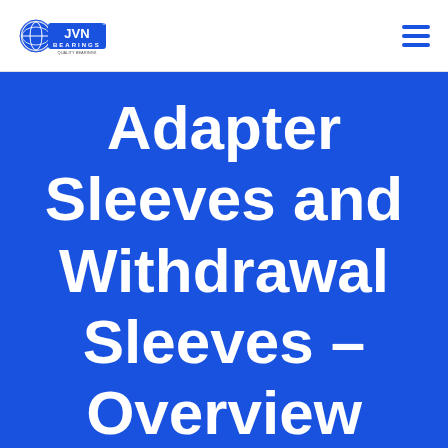JVN Bearings
Adapter Sleeves and Withdrawal Sleeves – Overview